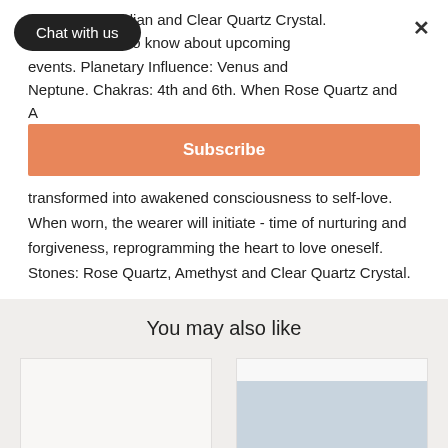ne, Black Obsidian and Clear Quartz Crystal. ch! Be the first to know about upcoming events. Planetary Influence: Venus and Neptune. Chakras: 4th and 6th. When Rose Quartz and A
Subscribe
transformed into awakened consciousness to self-love. When worn, the wearer will initiate - time of nurturing and forgiveness, reprogramming the heart to love oneself. Stones: Rose Quartz, Amethyst and Clear Quartz Crystal.
You may also like
[Figure (photo): Two product card placeholders shown side by side, left card is light beige, right card has a light blue/grey inner image area on a white top strip.]